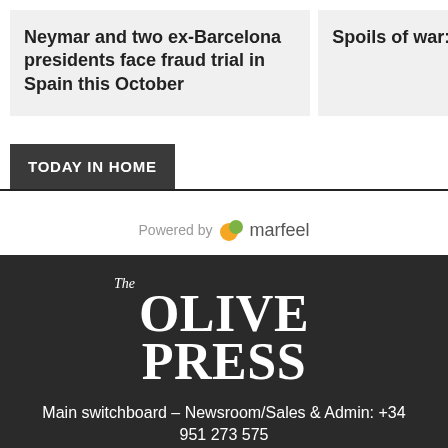Neymar and two ex-Barcelona presidents face fraud trial in Spain this October
Spoils of war: superyacht go
TODAY IN HOME
[Figure (logo): Marfeel powered-by logo with orange/green leaf icon and grey marfeel text]
[Figure (logo): The Olive Press newspaper logo in white serif font on dark background]
Main switchboard – Newsroom/Sales & Admin: +34 951 273 575